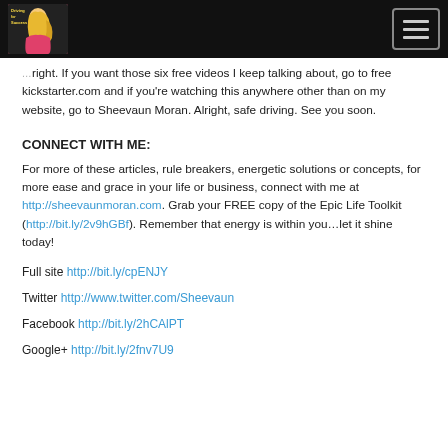Driving for Success logo and hamburger menu
right. If you want those six free videos I keep talking about, go to free kickstarter.com and if you're watching this anywhere other than on my website, go to Sheevaun Moran. Alright, safe driving. See you soon.
CONNECT WITH ME:
For more of these articles, rule breakers, energetic solutions or concepts, for more ease and grace in your life or business, connect with me at http://sheevaunmoran.com. Grab your FREE copy of the Epic Life Toolkit (http://bit.ly/2v9hGBf). Remember that energy is within you…let it shine today!
Full site http://bit.ly/cpENJY
Twitter http://www.twitter.com/Sheevaun
Facebook http://bit.ly/2hCAlPT
Google+ http://bit.ly/2fnv7U9